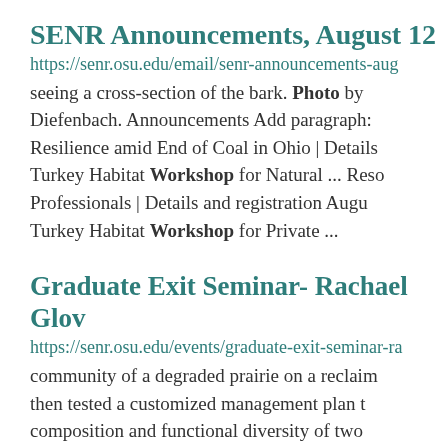SENR Announcements, August 12
https://senr.osu.edu/email/senr-announcements-aug seeing a cross-section of the bark. Photo by Diefenbach. Announcements Add paragraph: Resilience amid End of Coal in Ohio | Details Turkey Habitat Workshop for Natural ... Reso Professionals | Details and registration Augu Turkey Habitat Workshop for Private ...
Graduate Exit Seminar- Rachael Glov
https://senr.osu.edu/events/graduate-exit-seminar-ra community of a degraded prairie on a reclaim then tested a customized management plan t composition and functional diversity of two